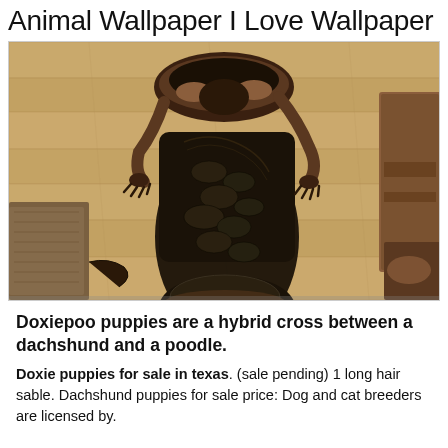Animal Wallpaper I Love Wallpaper
[Figure (photo): A dachshund puppy climbing into or on top of a dark crocodile-skin cowboy boot, viewed from above on a light wood floor with a brown rug visible on the left and a wooden chair on the right.]
Doxiepoo puppies are a hybrid cross between a dachshund and a poodle.
Doxie puppies for sale in texas. (sale pending) 1 long hair sable. Dachshund puppies for sale price: Dog and cat breeders are licensed by.